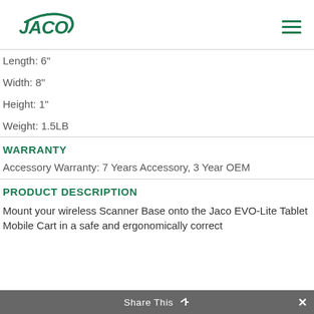[Figure (logo): JACO company logo in green with swoosh arc above text]
Length: 6"
Width: 8"
Height: 1"
Weight: 1.5LB
WARRANTY
Accessory Warranty: 7 Years Accessory, 3 Year OEM
PRODUCT DESCRIPTION
Mount your wireless Scanner Base onto the Jaco EVO-Lite Tablet Mobile Cart in a safe and ergonomically correct
Share This